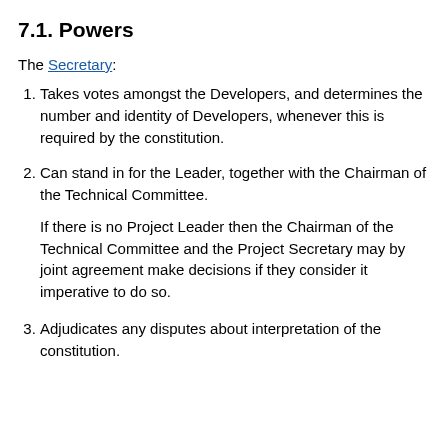7.1. Powers
The Secretary:
Takes votes amongst the Developers, and determines the number and identity of Developers, whenever this is required by the constitution.
Can stand in for the Leader, together with the Chairman of the Technical Committee.

If there is no Project Leader then the Chairman of the Technical Committee and the Project Secretary may by joint agreement make decisions if they consider it imperative to do so.
Adjudicates any disputes about interpretation of the constitution.